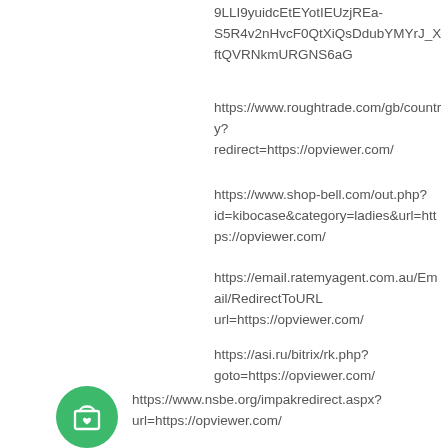9LLI9yuidcEtEYotIEUzjREa-S5R4v2nHvcF0QtXiQsDdubYMYrJ_XftQVRNkmURGNS6aG
https://www.roughtrade.com/gb/country?redirect=https://opviewer.com/
https://www.shop-bell.com/out.php?id=kibocase&category=ladies&url=https://opviewer.com/
https://email.ratemyagent.com.au/Email/RedirectToURL?url=https://opviewer.com/
https://asi.ru/bitrix/rk.php?goto=https://opviewer.com/
[Figure (illustration): Green circle icon with a shopping bag and heart symbol]
https://www.nsbe.org/impakredirect.aspx?url=https://opviewer.com/